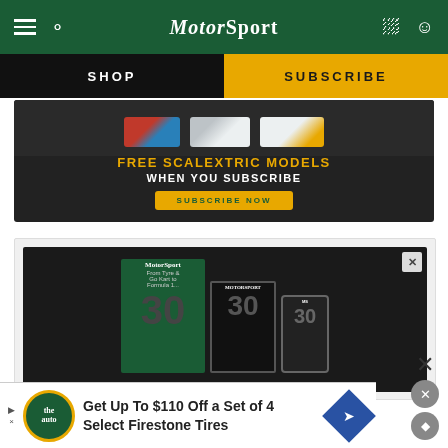[Figure (screenshot): Motor Sport magazine website header with green navigation bar containing hamburger menu, search icon, Motor Sport logo, shopping bag and user account icons]
SHOP
SUBSCRIBE
[Figure (infographic): Dark background promotional banner showing race car models with text: FREE SCALEXTRIC MODELS WHEN YOU SUBSCRIBE, and a yellow SUBSCRIBE NOW button]
[Figure (infographic): Dark background Motor Sport magazine advertisement showing print magazine, tablet and phone versions of the publication with a 30 visible on covers]
Get Up To $110 Off a Set of 4 Select Firestone Tires